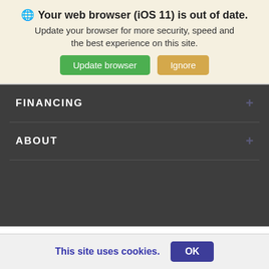🌐 Your web browser (iOS 11) is out of date. Update your browser for more security, speed and the best experience on this site.
FINANCING
ABOUT
Copyright © 2022 - Williams Buick GMC
Privacy Policy | Contact Us | Sitemap | Sitemap XML
Advanced Automotive Dealer Websites by Dealer Inspire
Automotive SEO by Wikimotive
This site uses cookies.